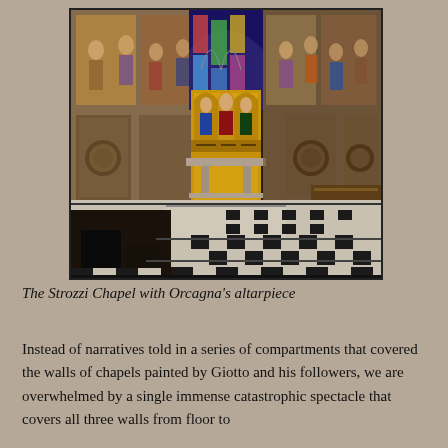[Figure (photo): Interior photograph of the Strozzi Chapel showing Orcagna's altarpiece, with frescoed walls, a stained glass window above the altar, and a black-and-white marble checkered floor in the foreground.]
The Strozzi Chapel with Orcagna's altarpiece
Instead of narratives told in a series of compartments that covered the walls of chapels painted by Giotto and his followers, we are overwhelmed by a single immense catastrophic spectacle that covers all three walls from floor to